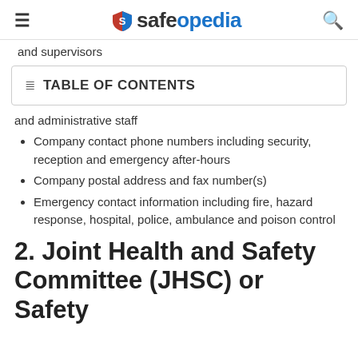safeopedia
and supervisors
TABLE OF CONTENTS
and administrative staff
Company contact phone numbers including security, reception and emergency after-hours
Company postal address and fax number(s)
Emergency contact information including fire, hazard response, hospital, police, ambulance and poison control
2. Joint Health and Safety Committee (JHSC) or Safety